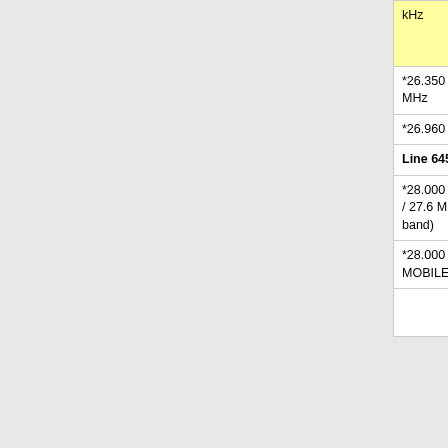| Line 645: | Line 655: |
| --- | --- |
| kHz [yellow] | studio audio links]] Citizen Band Radio) 26175 - 27500 kHz [green] |
| *26.350 MHz - UK begin FIXED/MOBILE band to 27.5 MHz | *26.350 MHz - UK begin FIXED/MOBILE band to 27.5 MHz |
| *26.960 MHz - begin CB band / CADS mid band | *26.960 MHz - begin CB band / CADS mid band |
| [Line header] Line 645: | [Line header] Line 655: |
| *28.000 MHz - end WPAS / CADS from 27.59625 MHz / 27.6 MHz (27.5 MHz to 28.0 MHz FIXED SERVICE band) | *28.000 MHz - end WPAS / CADS from 27.59625 MHz / 27.6 MHz (27.5 MHz to 28.0 MHz FIXED SERVICE band) |
| *28.000 MHz - end METEOROLOGICAL AIDS, FIXED, MOBILE band (on-site paging, fixed/mobile service) | *28.000 MHz - end METEOROLOGICAL AIDS, FIXED, MOBILE band (on-site paging, fixed/mobile service) |
|  | *28.000 MHz - begin 10 meter amateur radio 10m ham radio band [red, added] |